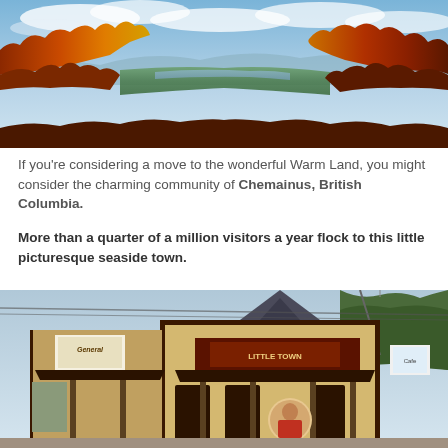[Figure (photo): Aerial panoramic view of autumn fall foliage with orange, red, and yellow trees surrounding a river valley with mountains in the background under a blue cloudy sky.]
If you're considering a move to the wonderful Warm Land, you might consider the charming community of Chemainus, British Columbia.
More than a quarter of a million visitors a year flock to this little picturesque seaside town.
[Figure (photo): Street view of a quaint small town with old-fashioned storefronts including a General Store and Little Town shop with Tudor-style architecture and a mural on one of the buildings.]